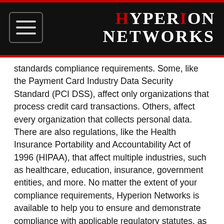Hyperion Networks
standards compliance requirements. Some, like the Payment Card Industry Data Security Standard (PCI DSS), affect only organizations that process credit card transactions. Others, affect every organization that collects personal data. There are also regulations, like the Health Insurance Portability and Accountability Act of 1996 (HIPAA), that affect multiple industries, such as healthcare, education, insurance, government entities, and more. No matter the extent of your compliance requirements, Hyperion Networks is available to help you to ensure and demonstrate compliance with applicable regulatory statutes, as well as internal compliance initiatives.
Get Started Today
At Hyperion Networks, we provide you with every resource